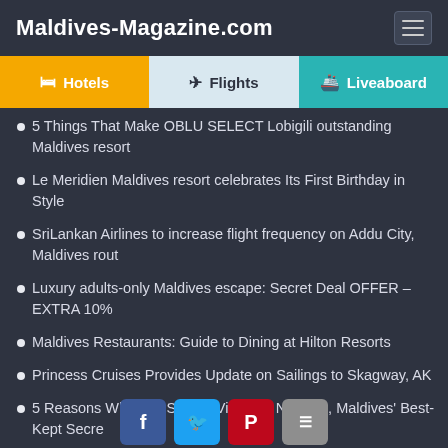Maldives-Magazine.com
5 Things That Make OBLU SELECT Lobigili outstanding Maldives resort
Le Meridien Maldives resort celebrates Its First Birthday in Style
SriLankan Airlines to increase flight frequency on Addu City, Maldives rout
Luxury adults-only Maldives escape: Secret Deal OFFER – EXTRA 10%
Maldives Restaurants: Guide to Dining at Hilton Resorts
Princess Cruises Provides Update on Sailings to Skagway, AK
5 Reasons Why You Should Visit The Nautilus, Maldives' Best-Kept Secre
Suite dreams are made of This at Hard Rock Hotel Maldives
Radisson Blu Re... host the Maldives Music